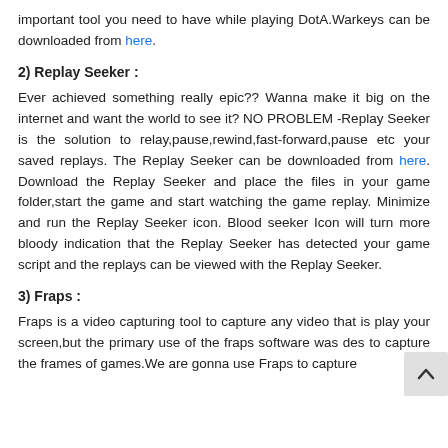important tool you need to have while playing DotA.Warkeys can be downloaded from here.
2) Replay Seeker :
Ever achieved something really epic?? Wanna make it big on the internet and want the world to see it? NO PROBLEM -Replay Seeker is the solution to relay,pause,rewind,fast-forward,pause etc your saved replays. The Replay Seeker can be downloaded from here. Download the Replay Seeker and place the files in your game folder,start the game and start watching the game replay. Minimize and run the Replay Seeker icon. Blood seeker Icon will turn more bloody indication that the Replay Seeker has detected your game script and the replays can be viewed with the Replay Seeker.
3) Fraps :
Fraps is a video capturing tool to capture any video that is play your screen,but the primary use of the fraps software was des to capture the frames of games.We are gonna use Fraps to capture